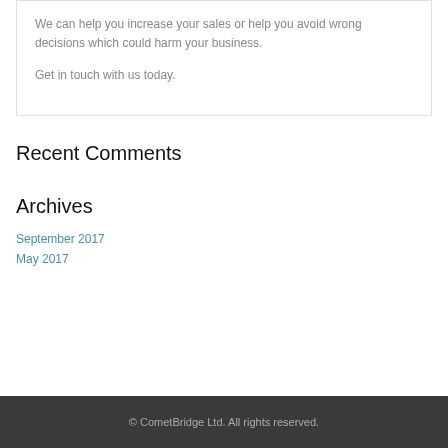We can help you increase your sales or help you avoid wrong decisions which could harm your business.
Get in touch with us today.
Recent Comments
Archives
September 2017
May 2017
© CometBridge Ltd. All rights reserved.